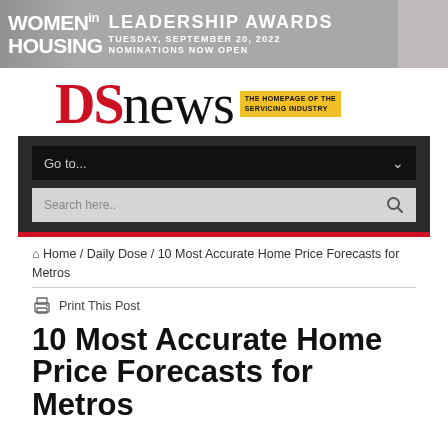[Figure (other): Women in Housing Leadership Awards banner ad — Tuesday, September 20, 2022, Nominations Now Open]
[Figure (logo): DS News logo — red DS, black news, yellow tagline: THE HOMEPAGE OF THE SERVICING INDUSTRY]
Go to...
Search here..
Home / Daily Dose / 10 Most Accurate Home Price Forecasts for Metros
Print This Post
10 Most Accurate Home Price Forecasts for Metros